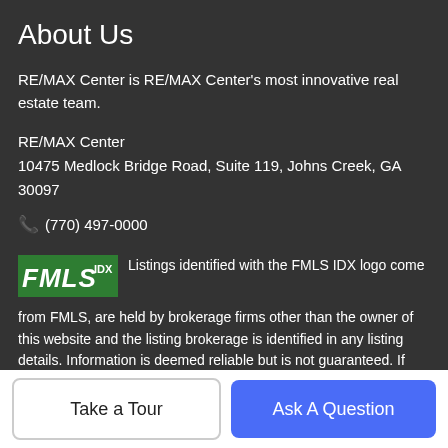About Us
RE/MAX Center is RE/MAX Center's most innovative real estate team.
RE/MAX Center
10475 Medlock Bridge Road, Suite 119, Johns Creek, GA 30097
📞 (770) 497-0000
[Figure (logo): FMLS IDX logo — green block letters FMLS with IDX superscript in white on green background]
Listings identified with the FMLS IDX logo come from FMLS, are held by brokerage firms other than the owner of this website and the listing brokerage is identified in any listing details. Information is deemed reliable but is not guaranteed. If you believe any FMLS listing contains material that infringes your copyrighted work, please click here to review our DMCA policy and learn how to submit a takedown request. © 2022 First Multiple
Take a Tour | Ask A Question